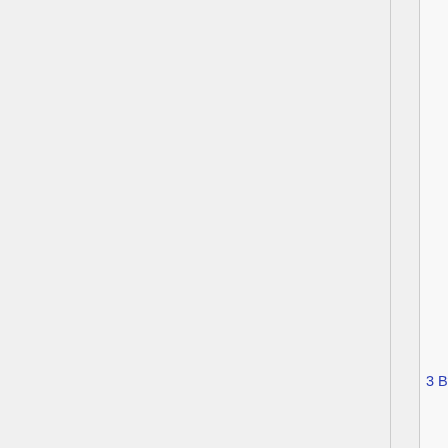2.27 btrfs-progs 4.8 (Oct 2016)
2.28 btrfs-progs 4.7 (Jul 2016)
2.29 btrfs-progs 4.6 (Jun 2016)
2.30 btrfs-progs 4.5 (Mar 2016)
2.31 btrfs-progs 4.4 (Jan 2016)
2.32 btrfs-progs 4.3 (Nov 2015)
2.33 btrfs-progs 4.2 (Sep 2015)
2.34 btrfs-progs 4.1 (Jun 2015)
2.35 btrfs-progs 4.0 (Apr 2015)
2.36 btrfs-progs 3.19 (Mar 2015)
2.37 btrfs-progs 3.18 (Dec 2014)
2.38 btrfs-progs 3.17 (Oct 2014)
2.39 btrfs-progs 3.16 (Aug 2014)
2.40 btrfs-progs 3.14 (Apr 2014)
2.41 btrfs-progs 3.12 (Nov 2013)
3 By version (linux kernel)
3.1 v5.17 (Mar 2022)
3.2 v5.16 (Jan 2022)
3.3 v5.15 (Nov 2021)
3.4 v5.14 (Aug 2021)
3.5 v5.13 (Jun 2021)
3.6 v5.12 (Apr 2021)
3.7 v5.11 (Feb 2021)